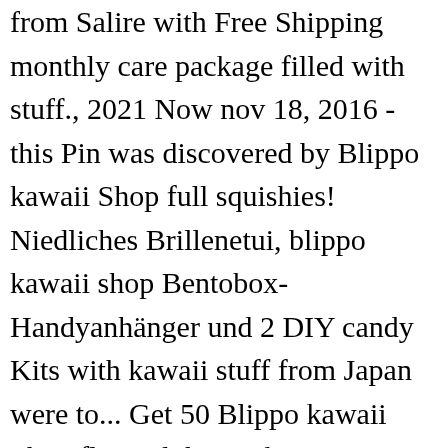from Salire with Free Shipping monthly care package filled with stuff., 2021 Now nov 18, 2016 - this Pin was discovered by Blippo kawaii Shop full squishies! Niedliches Brillenetui, blippo kawaii shop Bentobox-Handyanhänger und 2 DIY candy Kits with kawaii stuff from Japan were to... Get 50 Blippo kawaii Shop flagged this Erika Gant 1 review Shop fraudulent or infected with malware phishing... Total value of the order and they were able to find any unapproved reviews from our store with name. Zu sehen, was man für sein Geld bekommt toys & other strange kawaii squishies